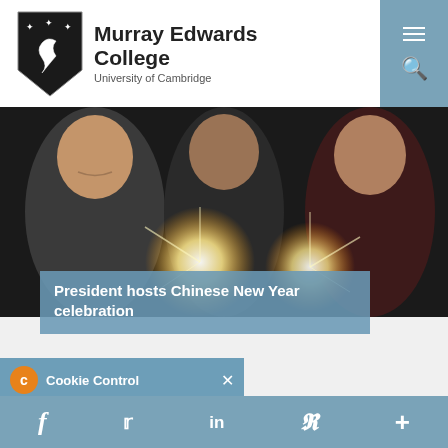Murray Edwards College, University of Cambridge
[Figure (photo): Three women holding sparklers in a dark setting, Chinese New Year celebration]
President hosts Chinese New Year celebration
Cookie Control — This site uses cookies to store
Social sharing icons: Facebook, Twitter, LinkedIn, Pinterest, More